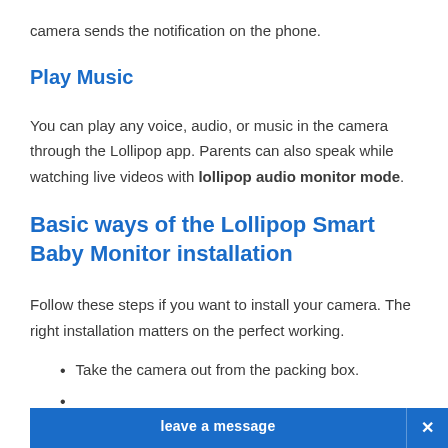camera sends the notification on the phone.
Play Music
You can play any voice, audio, or music in the camera through the Lollipop app. Parents can also speak while watching live videos with lollipop audio monitor mode.
Basic ways of the Lollipop Smart Baby Monitor installation
Follow these steps if you want to install your camera. The right installation matters on the perfect working.
Take the camera out from the packing box.